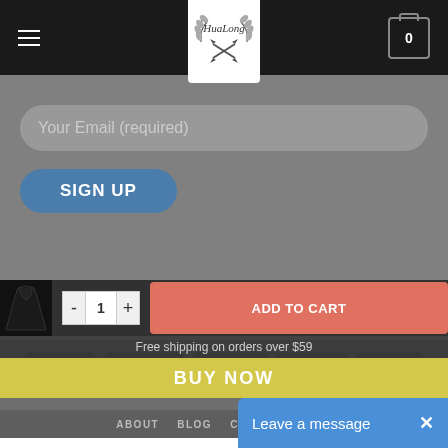[Figure (screenshot): HuaLong store website header with hamburger menu, centered logo, and cart icon showing 0]
Your Email (required)
SIGN UP
[Figure (logo): Payment method icons: VISA, PayPal, stripe, MasterCard, CASH ON DELIVERY]
ABOUT   BLOG   CONTACT   FAQ
[Figure (photo): Black fitted dress product thumbnail]
- 1 +
ADD TO CART
Free shipping on orders over $59
BUY NOW
Leave a message